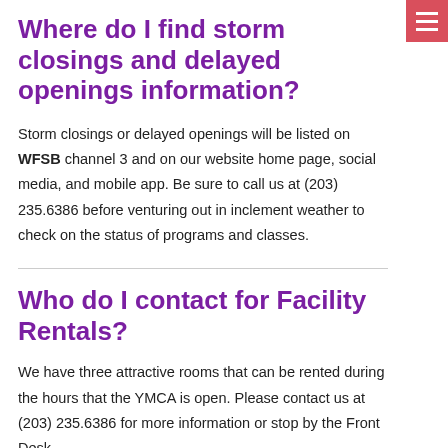Where do I find storm closings and delayed openings information?
Storm closings or delayed openings will be listed on WFSB channel 3 and on our website home page, social media, and mobile app. Be sure to call us at (203) 235.6386 before venturing out in inclement weather to check on the status of programs and classes.
Who do I contact for Facility Rentals?
We have three attractive rooms that can be rented during the hours that the YMCA is open. Please contact us at (203) 235.6386 for more information or stop by the Front Desk.